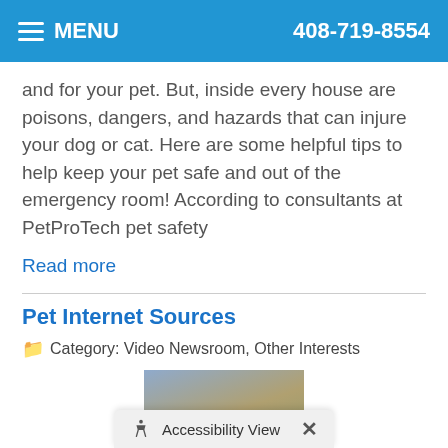MENU  408-719-8554
and for your pet. But, inside every house are poisons, dangers, and hazards that can injure your dog or cat. Here are some helpful tips to help keep your pet safe and out of the emergency room! According to consultants at PetProTech pet safety
Read more
Pet Internet Sources
Category: Video Newsroom, Other Interests
[Figure (photo): A person at a desk with a laptop and a large stack of papers or magazines]
Accessibility View